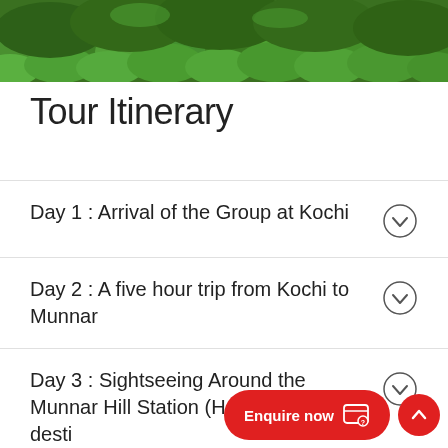[Figure (photo): Aerial view of lush green tea garden / tea plantation hillside]
Tour Itinerary
Day 1 : Arrival of the Group at Kochi
Day 2 : A five hour trip from Kochi to Munnar
Day 3 : Sightseeing Around the Munnar Hill Station (Honeymoon destination)